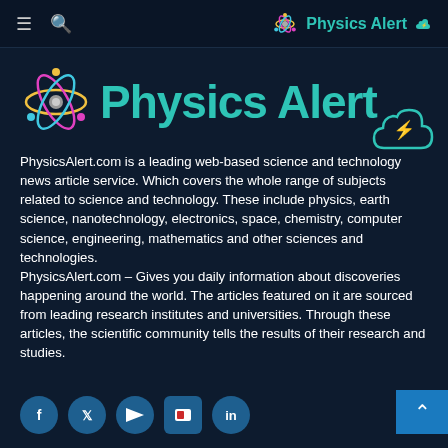Physics Alert
[Figure (logo): Physics Alert logo with atom icon and cloud icon, teal colored text reading 'Physics Alert']
PhysicsAlert.com is a leading web-based science and technology news article service. Which covers the whole range of subjects related to science and technology. These include physics, earth science, nanotechnology, electronics, space, chemistry, computer science, engineering, mathematics and other sciences and technologies. PhysicsAlert.com – Gives you daily information about discoveries happening around the world. The articles featured on it are sourced from leading research institutes and universities. Through these articles, the scientific community tells the results of their research and studies.
[Figure (infographic): Social media icons: Facebook, Twitter, RSS, Flipboard, LinkedIn]